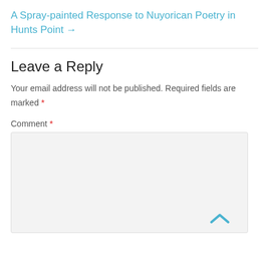A Spray-painted Response to Nuyorican Poetry in Hunts Point →
Leave a Reply
Your email address will not be published. Required fields are marked *
Comment *